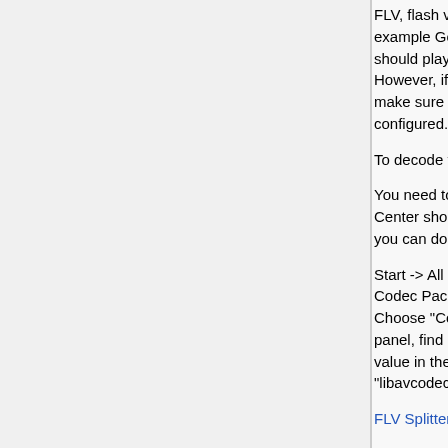FLV, flash video, is a format widely used for streaming. For example Google video and YouTube use this format. This format should play correctly in Media Center without user actions. However, if you do have problem playing them, you need to make sure the following filters are properly installed and configured.
To decode the Flash Video Codec: FFDSHOW
You need to configure it so it will decode FLV video. Media Center should configure it for you automatically, but here is how you can do it manually:
Start -> All Programs -> FFDShow (or Combined Community Codec Pack) -> FFDShow Video Decoder Configuration. Choose "Codecs" from the top of the left panel. On the right panel, find FLV1 in the first column ("Format"), and change the value in the second column ("Decoder") from "disabled" to "libavcodec". Click OK.
FLV Splitter